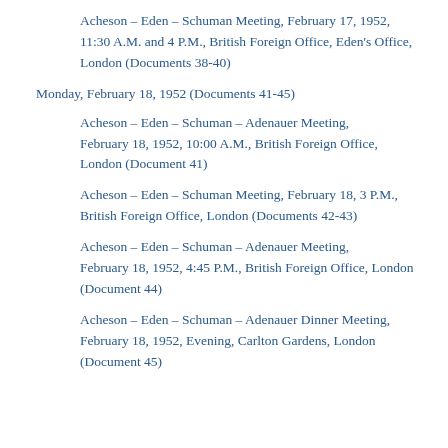Embassy Attaches, London (Document 3)
Acheson–Eden–Schuman Meeting, February 17, 1952, 11:30 A.M. and 4 P.M., British Foreign Office, Eden's Office, London (Documents 38-40)
Monday, February 18, 1952 (Documents 41-45)
Acheson–Eden–Schuman–Adenauer Meeting, February 18, 1952, 10:00 A.M., British Foreign Office, London (Document 41)
Acheson–Eden–Schuman Meeting, February 18, 3 P.M., British Foreign Office, London (Documents 42-43)
Acheson–Eden–Schuman–Adenauer Meeting, February 18, 1952, 4:45 P.M., British Foreign Office, London (Document 44)
Acheson–Eden–Schuman–Adenauer Dinner Meeting, February 18, 1952, Evening, Carlton Gardens, London (Document 45)